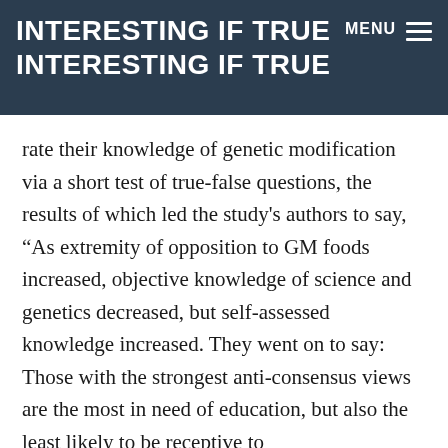INTERESTING IF TRUE INTERESTING IF TRUE MENU ≡
rate their knowledge of genetic modification via a short test of true-false questions, the results of which led the study's authors to say, “As extremity of opposition to GM foods increased, objective knowledge of science and genetics decreased, but self-assessed knowledge increased. They went on to say: Those with the strongest anti-consensus views are the most in need of education, but also the least likely to be receptive to